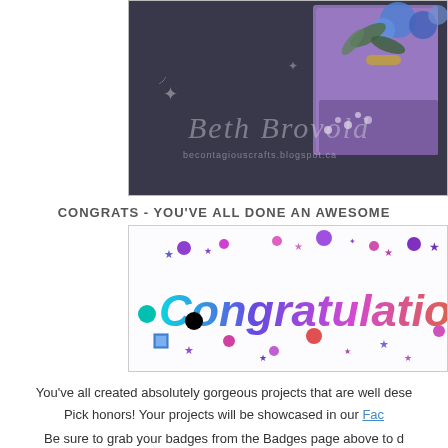[Figure (photo): Craft project photo showing a purple decorative box with blue flowers and greenery on dark background, with watermark text 'Beth Brovold becontagiouscrafts.blogspot.ca' and dragonfly illustrations]
CONGRATS - YOU'VE ALL DONE AN AWESOME
[Figure (illustration): Animated 'Congratulations' text graphic with colorful bubble letters in teal, purple and pink gradient, surrounded by stars, dots and sparkles in various colors]
You've all created absolutely gorgeous projects that are well dese
Pick honors! Your projects will be showcased in our Fac
Be sure to grab your badges from the Badges page above to d